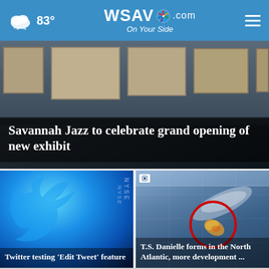83° WSAV.com On Your Side
[Figure (screenshot): Hero image: Savannah Jazz exhibit gallery interior with framed photos on dark walls]
Savannah Jazz to celebrate grand opening of new exhibit
[Figure (screenshot): Twitter logo (blue bird) on blue gradient background with NYSE signage]
Twitter testing 'Edit Tweet' feature
[Figure (screenshot): Satellite weather map showing Tropical Storm Danielle in the North Atlantic with red circle highlight]
T.S. Danielle forms in the North Atlantic, more development ...